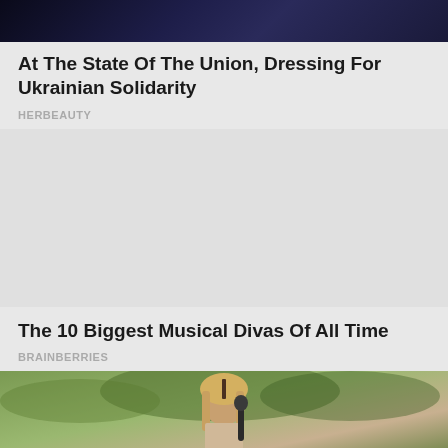[Figure (photo): Dark blue-toned photo at top of page, appears to show a person or figures against a dark background]
At The State Of The Union, Dressing For Ukrainian Solidarity
HERBEAUTY
[Figure (other): Advertisement block, gray background]
The 10 Biggest Musical Divas Of All Time
BRAINBERRIES
[Figure (photo): Photo of a blonde woman holding a microphone outdoors with green trees in background]